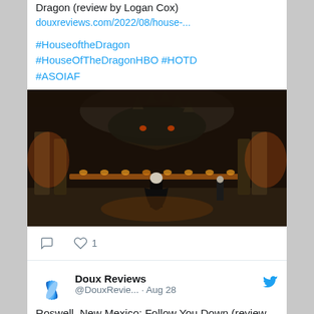Dragon (review by Logan Cox)
douxreviews.com/2022/08/house-...
#HouseoftheDragon #HouseOfTheDragonHBO #HOTD #ASOIAF
[Figure (photo): Scene from House of the Dragon showing a figure in black robes standing before a large dragon in a dimly lit chamber with candles and stone columns]
♡ 1
Doux Reviews @DouxRevie... · Aug 28
Roswell, New Mexico: Follow You Down (review by Shari)